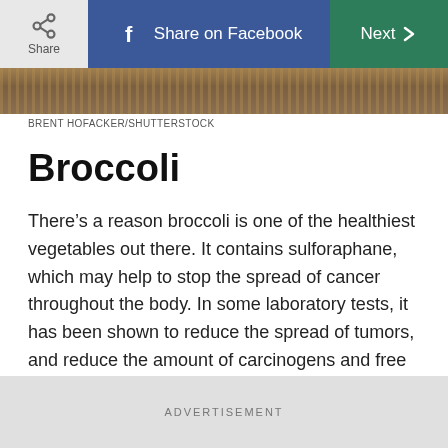[Figure (screenshot): Top navigation bar with Share button (grey), Share on Facebook button (blue), and Next button (green)]
[Figure (photo): Partial image of food (likely broccoli or grains) with brown/golden tones — image strip at top of content area]
BRENT HOFACKER/SHUTTERSTOCK
Broccoli
There’s a reason broccoli is one of the healthiest vegetables out there. It contains sulforaphane, which may help to stop the spread of cancer throughout the body. In some laboratory tests, it has been shown to reduce the spread of tumors, and reduce the amount of carcinogens and free radicals in the body. Here are some more of the healthiest vegetables you can possibly eat.
ADVERTISEMENT